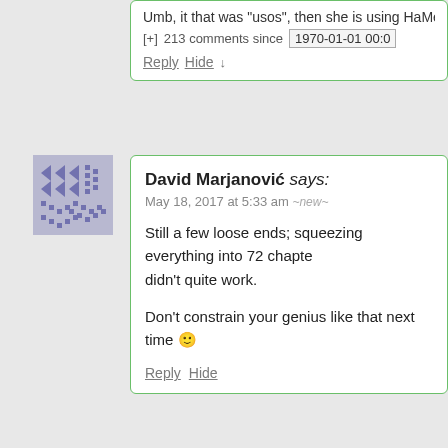Umb, it that was "usos", then she is using HaMe
[+] 213 comments since 1970-01-01 00:0
Reply Hide ↓
[Figure (illustration): Pixelated avatar icon with blue/purple arrow and dot pattern for user David Marjanović]
David Marjanović says:
May 18, 2017 at 5:33 am ~new~

Still a few loose ends; squeezing everything into 72 chapters didn't quite work.

Don't constrain your genius like that next time 🙂

Reply Hide
[Figure (illustration): Pixelated avatar icon with grey/blue pattern for user Jack V]
Jack V says:
May 18, 2017 at 5:47 am ~new~

Woah. OK, there we have most of the loose ends.

I give myself full points for expecting the earth will get cleaned up but not what happened to the surviving characters.